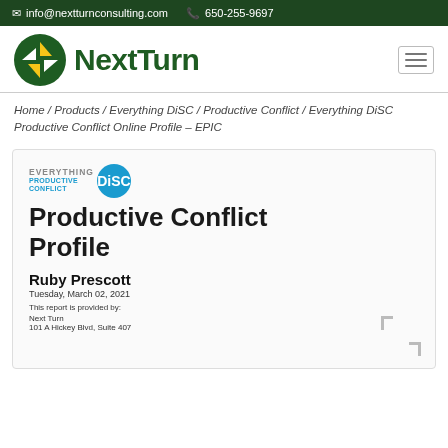info@nextturnconsulting.com  650-255-9697
[Figure (logo): NextTurn consulting logo with green circle and yellow/white arrow shapes, next to bold green NextTurn text]
Home / Products / Everything DiSC / Productive Conflict / Everything DiSC Productive Conflict Online Profile – EPIC
[Figure (illustration): Everything DiSC Productive Conflict report cover page preview showing logo, title 'Productive Conflict Profile', name Ruby Prescott, date Tuesday March 02 2021, report provider Next Turn, address 101 A Hickey Blvd Suite 407]
Productive Conflict Profile
Ruby Prescott
Tuesday, March 02, 2021
This report is provided by:
Next Turn
101 A Hickey Blvd, Suite 407